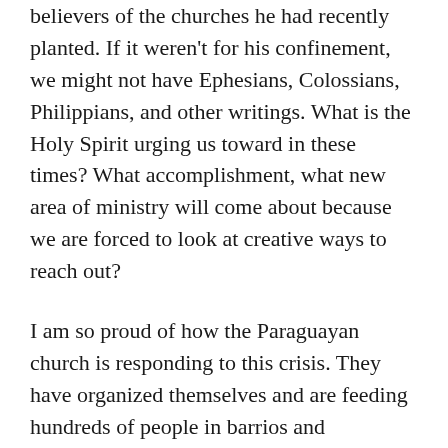believers of the churches he had recently planted. If it weren't for his confinement, we might not have Ephesians, Colossians, Philippians, and other writings. What is the Holy Spirit urging us toward in these times? What accomplishment, what new area of ministry will come about because we are forced to look at creative ways to reach out?
I am so proud of how the Paraguayan church is responding to this crisis. They have organized themselves and are feeding hundreds of people in barrios and indigenous communities where there is nothing to eat. Children see them coming and run to them, just so desperately hungry.
Believers all over the country are taking the time, effort, and expense to give hot meals and